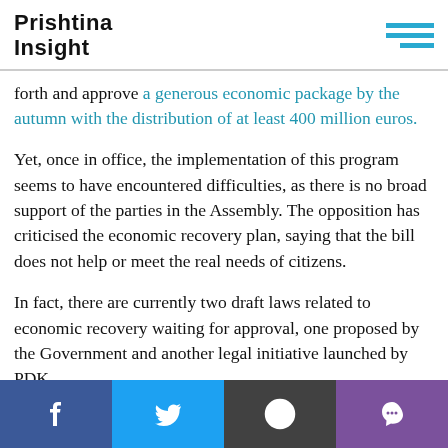Prishtina Insight
forth and approve a generous economic package by the autumn with the distribution of at least 400 million euros.
Yet, once in office, the implementation of this program seems to have encountered difficulties, as there is no broad support of the parties in the Assembly. The opposition has criticised the economic recovery plan, saying that the bill does not help or meet the real needs of citizens.
In fact, there are currently two draft laws related to economic recovery waiting for approval, one proposed by the Government and another legal initiative launched by PDK.
LDK and the other parties making up the coalition
Facebook Twitter Reddit Viber